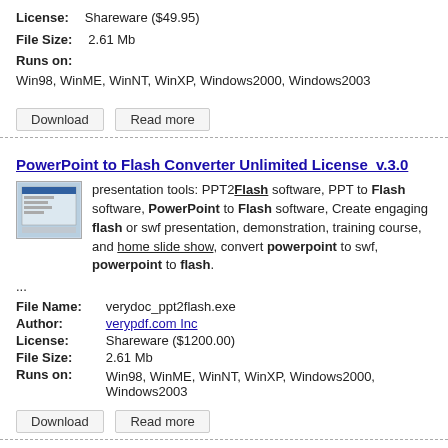License: Shareware ($49.95)
File Size: 2.61 Mb
Runs on: Win98, WinME, WinNT, WinXP, Windows2000, Windows2003
Download | Read more
PowerPoint to Flash Converter Unlimited License  v.3.0
presentation tools: PPT2Flash software, PPT to Flash software, PowerPoint to Flash software, Create engaging flash or swf presentation, demonstration, training course, and home slide show, convert powerpoint to swf, powerpoint to flash. ...
File Name: verydoc_ppt2flash.exe
Author: verypdf.com Inc
License: Shareware ($1200.00)
File Size: 2.61 Mb
Runs on: Win98, WinME, WinNT, WinXP, Windows2000, Windows2003
Download | Read more